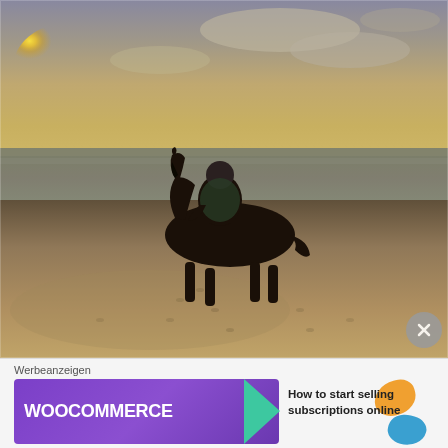[Figure (photo): A person riding a dark horse on a beach at sunset. The golden sun is visible on the left horizon, reflecting on calm water. The beach sand is in the foreground with hoofprints visible. The sky has dramatic clouds lit with warm sunset colors.]
Werbeanzeigen
[Figure (screenshot): WooCommerce advertisement banner. Purple background with WooCommerce logo in white bold text followed by a green arrow/play shape. Right side shows text: How to start selling subscriptions online, with orange and blue decorative blob shapes.]